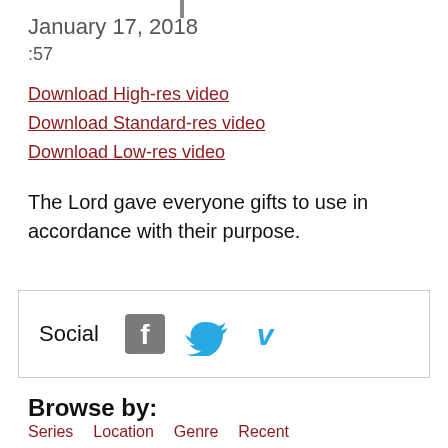January 17, 2018
:57
Download High-res video
Download Standard-res video
Download Low-res video
The Lord gave everyone gifts to use in accordance with their purpose.
[Figure (other): Social media sharing box with Facebook, Twitter, and Vimeo icons]
Browse by:
Series   Location   Genre   Recent
More from this genre: Church